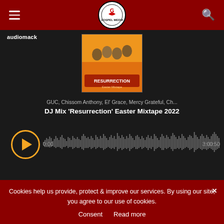[Figure (screenshot): Website header with dark red background, hamburger menu icon on left, Gospel Mix Media circular logo in center, and search icon on right]
[Figure (screenshot): Audiomack audio player embed with dark background showing album art for 'Resurrection' Easter Mixtape 2022, track artist 'GUC, Chissom Anthony, El Grace, Mercy Grateful, Ch...', track title 'DJ Mix Resurrection Easter Mixtape 2022', orange play button, waveform visualization, time 0:00 to 3:00:50]
[Figure (screenshot): Advertisement banner for Get APP Now on Google Play]
Cookies help us provide, protect & improve our services. By using our site, you agree to our use of cookies.
Consent
Read more